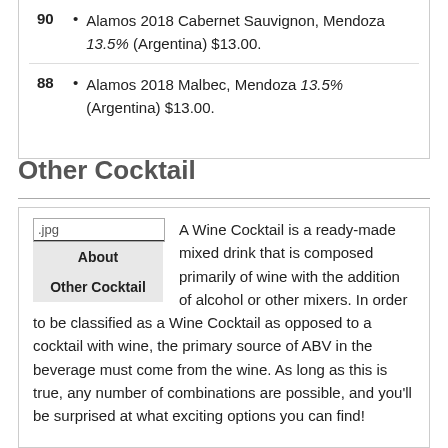90 • Alamos 2018 Cabernet Sauvignon, Mendoza 13.5% (Argentina) $13.00.
88 • Alamos 2018 Malbec, Mendoza 13.5% (Argentina) $13.00.
Other Cocktail
[Figure (screenshot): Navigation widget showing a broken image placeholder (.jpg) above a table with two rows: 'About' and 'Other Cocktail']
A Wine Cocktail is a ready-made mixed drink that is composed primarily of wine with the addition of alcohol or other mixers. In order to be classified as a Wine Cocktail as opposed to a cocktail with wine, the primary source of ABV in the beverage must come from the wine. As long as this is true, any number of combinations are possible, and you'll be surprised at what exciting options you can find!